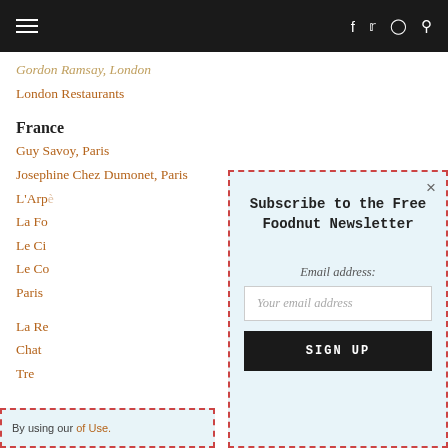≡  f  𝕏  ⊡  🔍
Gordon Ramsay, London
London Restaurants
France
Guy Savoy, Paris
Josephine Chez Dumonet, Paris
L'Arp…
La Fo…
Le Ci…
Le Co…
Paris…
La Re…
Chat…
Tre…
By using our… of Use.
Subscribe to the Free Foodnut Newsletter
Email address:
Your email address
SIGN UP